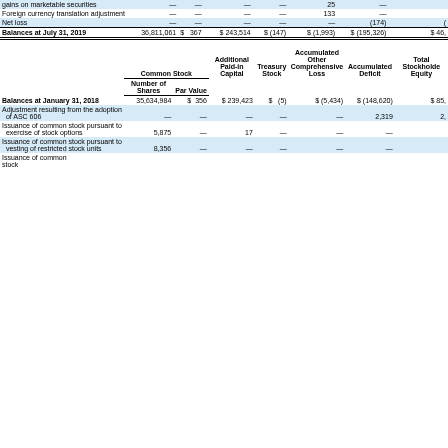|  | Number of Shares | Par Value | Additional Paid-in Capital | Treasury Stock | Accumulated Other Comprehensive Loss | Accumulated Deficit | Total Stockholders Equity |
| --- | --- | --- | --- | --- | --- | --- | --- |
| gains on marketable securities | — | — | — | — | 25 | — |  |
| Foreign currency translation adjustment | — | — | — | — | 133 | — |  |
| Net loss | — | — | — | — | — | (174) | ( |
| Balances at July 31, 2019 | 36,811,061 | $ 367 | $ 243,514 | $ (147) | $ (1,993) | $ (195,326) | $ 46, |
| Balances at January 31, 2018 | 35,634,984 | $ 356 | $ 239,423 | $ (5) | $ (5,434) | $ (148,620) | $ 85, |
| Adjustment resulting from the adoption of ASC 606 | — | — | — | — | — | 2,319 | 2, |
| Issuance of common stock pursuant to exercise of stock options | 5,875 | — | 17 | — | — | — |  |
| Issuance of common stock pursuant to vesting of restricted stock units | 8,356 | — | — | — | — | — |  |
| Issuance of common stock |  |  |  |  |  |  |  |